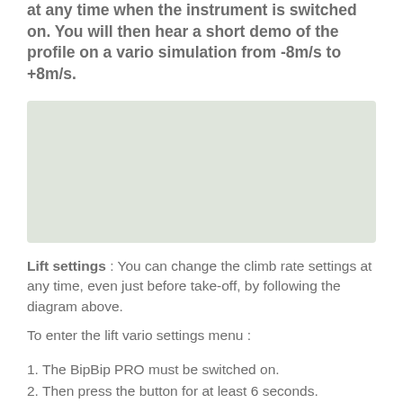at any time when the instrument is switched on. You will then hear a short demo of the profile on a vario simulation from -8m/s to +8m/s.
[Figure (other): A blurred/faded rectangular diagram area showing vario profile settings visualization]
Lift settings : You can change the climb rate settings at any time, even just before take-off, by following the diagram above.
To enter the lift vario settings menu :
1. The BipBip PRO must be switched on.
2. Then press the button for at least 6 seconds.